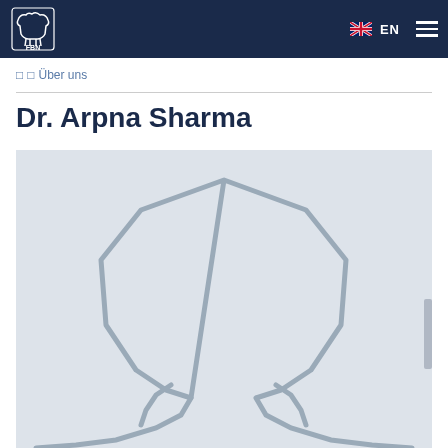FBN EN
□ □ Über uns
Dr. Arpna Sharma
[Figure (illustration): Placeholder silhouette illustration of a person (head and shoulders outline) on a light gray background, representing a profile photo placeholder for Dr. Arpna Sharma]